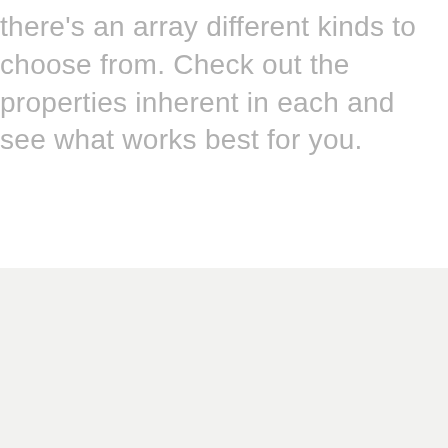there's an array different kinds to choose from. Check out the properties inherent in each and see what works best for you.
[Figure (logo): Elle J logo with tagline 'ALIVE. BEAUTIFUL. HAIR.' on a light grey background]
ALIVE. BEAUTIFUL. HAIR.